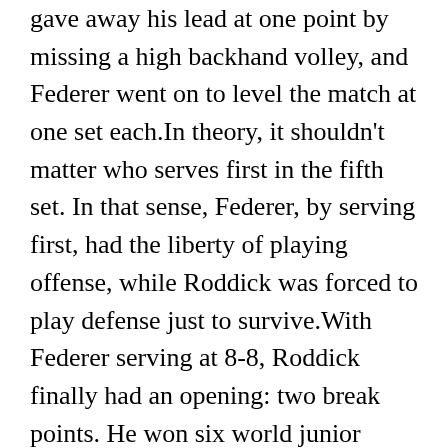gave away his lead at one point by missing a high backhand volley, and Federer went on to level the match at one set each.In theory, it shouldn't matter who serves first in the fifth set. In that sense, Federer, by serving first, had the liberty of playing offense, while Roddick was forced to play defense just to survive.With Federer serving at 8-8, Roddick finally had an opening: two break points. He won six world junior singles titles and seven world junior doubles titles, and won the US Open and Australian Open junior singles titles in 2000. It's not simply that Federer doesn't come unglued in moments of high stress; he actually excels, as champions do, achieving a calm that borders on serenity when everything is at stake.And so